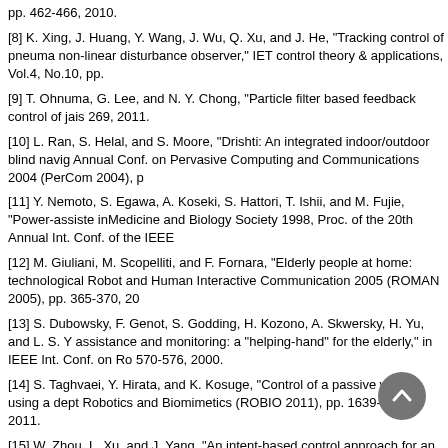pp. 462-466, 2010.
[8] K. Xing, J. Huang, Y. Wang, J. Wu, Q. Xu, and J. He, "Tracking control of pneuma non-linear disturbance observer," IET control theory & applications, Vol.4, No.10, pp.
[9] T. Ohnuma, G. Lee, and N. Y. Chong, "Particle filter based feedback control of jais 269, 2011.
[10] L. Ran, S. Helal, and S. Moore, "Drishti: An integrated indoor/outdoor blind navig Annual Conf. on Pervasive Computing and Communications 2004 (PerCom 2004), p
[11] Y. Nemoto, S. Egawa, A. Koseki, S. Hattori, T. Ishii, and M. Fujie, "Power-assiste inMedicine and Biology Society 1998, Proc. of the 20th Annual Int. Conf. of the IEEE
[12] M. Giuliani, M. Scopelliti, and F. Fornara, "Elderly people at home: technological Robot and Human Interactive Communication 2005 (ROMAN 2005), pp. 365-370, 20
[13] S. Dubowsky, F. Genot, S. Godding, H. Kozono, A. Skwersky, H. Yu, and L. S. Y assistance and monitoring: a "helping-hand" for the elderly," in IEEE Int. Conf. on Ro 570-576, 2000.
[14] S. Taghvaei, Y. Hirata, and K. Kosuge, "Control of a passive walker using a dept Robotics and Biomimetics (ROBIO 2011), pp. 1639-1645, 2011.
[15] W. Zhou, L. Xu, and J. Yang, "An intent-based control approach for an intelligent Control, Automation and Robotics (CAR 2010), Vol.2, pp. 54-57, 2010.
[16] I. Ulrich and J. Borenstein, "The guidecane-applying mobile robot technologies t Man and Cybernetics, Part A: Systems and Humans, Vol.31, No.2, pp. 131-136; 200
[17] I. Shim and J. Yoon, "A human robot interaction system "roji"," in IEEE/ASME Int 2003), Proc., Vol.2, pp. 723-728, 2003.
[18] Y. Hirata, A. Hara, and K. Kosuge, "Motion control of passivetype walking suppor